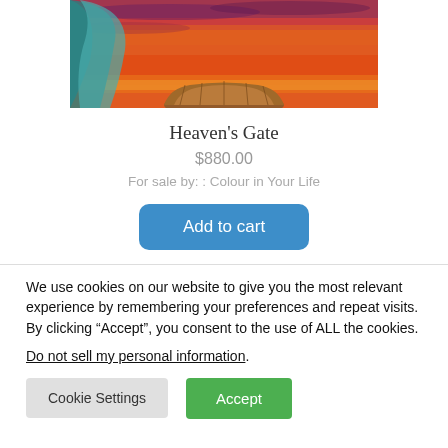[Figure (photo): Partial view of a painting called Heaven's Gate showing an orange/red sunset sky with teal drapery and a basket at the bottom.]
Heaven's Gate
$880.00
For sale by: : Colour in Your Life
Add to cart
We use cookies on our website to give you the most relevant experience by remembering your preferences and repeat visits. By clicking “Accept”, you consent to the use of ALL the cookies.
Do not sell my personal information.
Cookie Settings
Accept